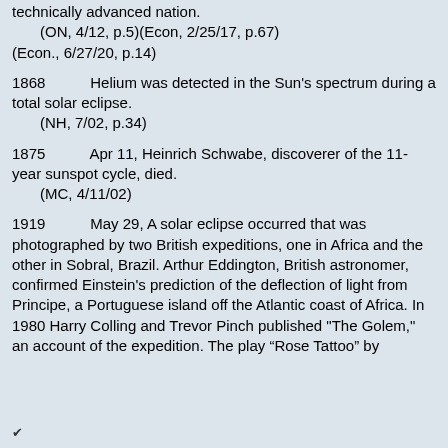technically advanced nation.
    (ON, 4/12, p.5)(Econ, 2/25/17, p.67)
(Econ., 6/27/20, p.14)
1868    Helium was detected in the Sun’s spectrum during a total solar eclipse.
    (NH, 7/02, p.34)
1875    Apr 11, Heinrich Schwabe, discoverer of the 11-year sunspot cycle, died.
    (MC, 4/11/02)
1919    May 29, A solar eclipse occurred that was photographed by two British expeditions, one in Africa and the other in Sobral, Brazil. Arthur Eddington, British astronomer, confirmed Einstein's prediction of the deflection of light from Principe, a Portuguese island off the Atlantic coast of Africa. In 1980 Harry Colling and Trevor Pinch published "The Golem," an account of the expedition. The play “Rose Tattoo” by